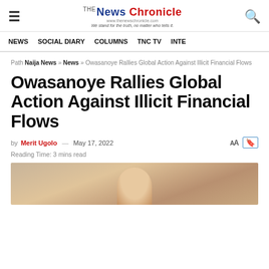The News Chronicle — We stand for the truth, no matter who tells it.
NEWS | SOCIAL DIARY | COLUMNS | TNC TV | INTE...
Path Naija News » News » Owasanoye Rallies Global Action Against Illicit Financial Flows
Owasanoye Rallies Global Action Against Illicit Financial Flows
by Merit Ugolo — May 17, 2022
Reading Time: 3 mins read
[Figure (photo): Photo of Owasanoye, partially visible, cropped at bottom of page]